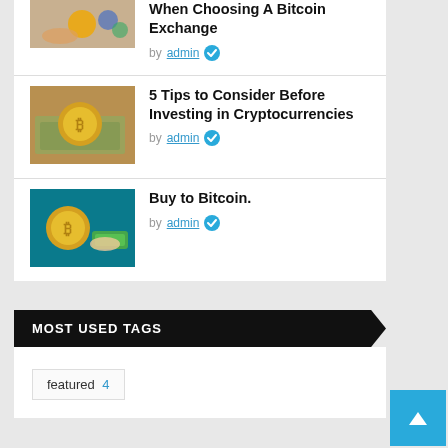When Choosing A Bitcoin Exchange
by admin ✓
5 Tips to Consider Before Investing in Cryptocurrencies
by admin ✓
Buy to Bitcoin.
by admin ✓
MOST USED TAGS
featured 4
[Figure (infographic): Scroll-to-top button with upward arrow on blue background]